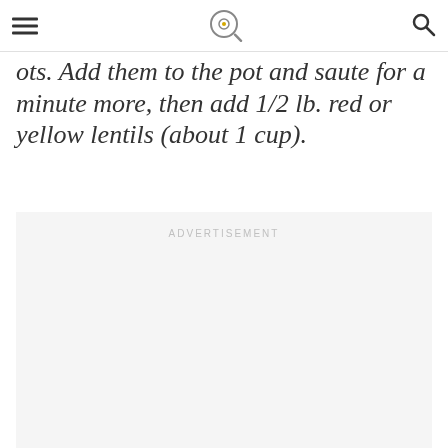[hamburger menu] [logo: frying pan icon] [search icon]
ots. Add them to the pot and saute for a minute more, then add 1/2 lb. red or yellow lentils (about 1 cup).
[Figure (other): Advertisement placeholder box with 'ADVERTISEMENT' label text in light gray, light gray background fill]